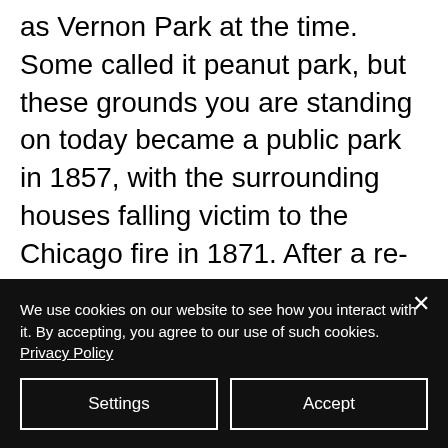as Vernon Park at the time. Some called it peanut park, but these grounds you are standing on today became a public park in 1857, with the surrounding houses falling victim to the Chicago fire in 1871. After a rebuild in 1885, it became a center for the rising Italian community that settled in this area through the 1940s. This is our history.

So much history. So many memories. So many weddings, productions and
We use cookies on our website to see how you interact with it. By accepting, you agree to our use of such cookies. Privacy Policy